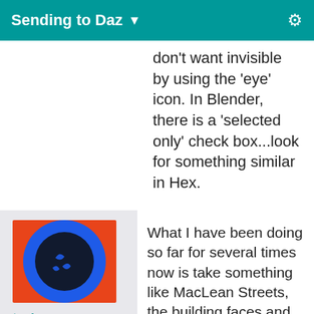Sending to Daz ▼
don't want invisible by using the 'eye' icon. In Blender, there is a 'selected only' check box...look for something similar in Hex.
[Figure (illustration): User avatar: orange square background with blue circle and dark inner circle with swirl marks]
texjones
Posts: 0
January 2013
What I have been doing so far for several times now is take something like MacLean Streets, the building faces and send it to Hex, in Hex I select the area that I want to use. Copy that, clear out the scene and paste the section that I wanted. THen add a primitive cube, with the front face